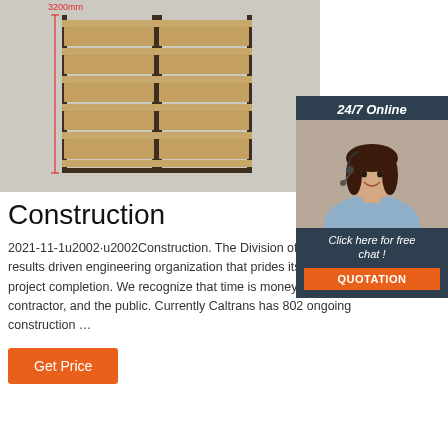[Figure (illustration): 3D rendering of industrial metal shelving/rack units with multiple shelves, shown with a dimension label of 3200mm height. Grey background.]
[Figure (photo): Advertisement panel: '24/7 Online' header with photo of smiling woman with headset, 'Click here for free chat!' text and orange QUOTATION button on dark navy background.]
Construction
2021-11-1u2002·u2002Construction. The Division of Construction is a results driven engineering organization that prides itself on timely project completion. We recognize that time is money for owner, contractor, and the public. Currently Caltrans has 802 ongoing construction …
Get Price